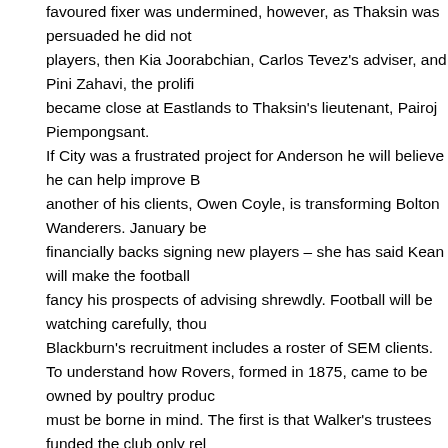favoured fixer was undermined, however, as Thaksin was persuaded he did not players, then Kia Joorabchian, Carlos Tevez's adviser, and Pini Zahavi, the prolifi became close at Eastlands to Thaksin's lieutenant, Pairoj Piempongsant. If City was a frustrated project for Anderson he will believe he can help improve B another of his clients, Owen Coyle, is transforming Bolton Wanderers. January be financially backs signing new players – she has said Kean will make the football fancy his prospects of advising shrewdly. Football will be watching carefully, thou Blackburn's recruitment includes a roster of SEM clients. To understand how Rovers, formed in 1875, came to be owned by poultry produc must be borne in mind. The first is that Walker's trustees funded the club only rel 2007 put it up for sale. In three years, no solid investor came forward with the rec who have not said how they funded their purchase. Not one British business pers top flight, crowds around 22,000, the vaunted global profile as a televised membe and decided the Rovers "brand" looked a sound investment. The other is to remember Desai's first interview to explain the takeover. She talke can do for the football club, but what being associated with Premier League fame feel that the Venky's brand will get an immediate recognition if we take over this reason why we are doing this," she said. Since they took over, the company's financial power has been vastly exaggerated